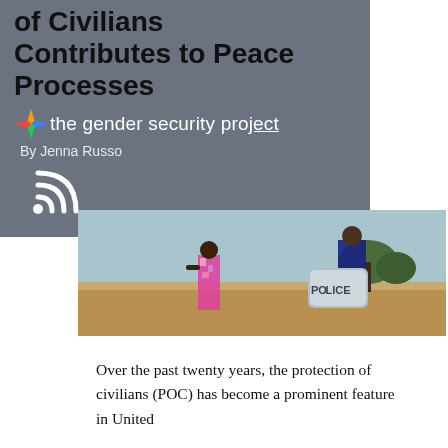of Civilians Contributes to Peace Processes
the gender security project
By Jenna Russo
[Figure (photo): A woman in a colorful floral dress stands in a field, with a police officer holding a riot shield visible in the foreground/right side. Sky and trees in the background, dry savanna-like landscape.]
Over the past twenty years, the protection of civilians (POC) has become a prominent feature in United